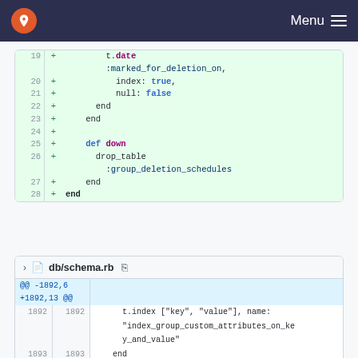Menu
[Figure (screenshot): Code diff showing lines 19-28 of a Ruby migration file with added lines (green background). Lines show t.date :marked_for_deletion_on, index: true, null: false, end, end, blank, def down, drop_table :group_deletion_schedules, end, end]
db/schema.rb
[Figure (screenshot): Code diff showing db/schema.rb lines 1892-1894, with hunk header @@ -1892,6 +1892,13 @@ and code t.index ["key", "value"], name: "index_group_custom_attributes_on_key_and_value" followed by end]